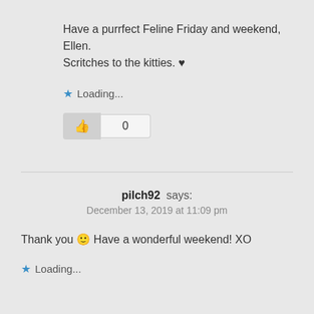Have a purrfect Feline Friday and weekend, Ellen. Scritches to the kitties. ♥
Loading...
[Figure (other): Like button widget showing thumbs up icon and count of 0]
pilch92 says: December 13, 2019 at 11:09 pm
Thank you 🙂 Have a wonderful weekend! XO
Loading...